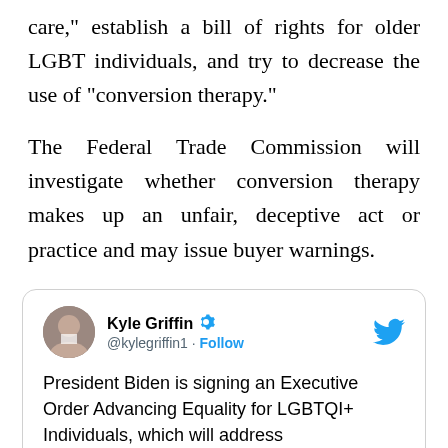care," establish a bill of rights for older LGBT individuals, and try to decrease the use of "conversion therapy."
The Federal Trade Commission will investigate whether conversion therapy makes up an unfair, deceptive act or practice and may issue buyer warnings.
[Figure (screenshot): Embedded tweet from Kyle Griffin (@kylegriffin1) with verified badge and Follow button, Twitter bird logo top right. Tweet text: 'President Biden is signing an Executive Order Advancing Equality for LGBTQI+ Individuals, which will address "discriminatory legislative attacks against']